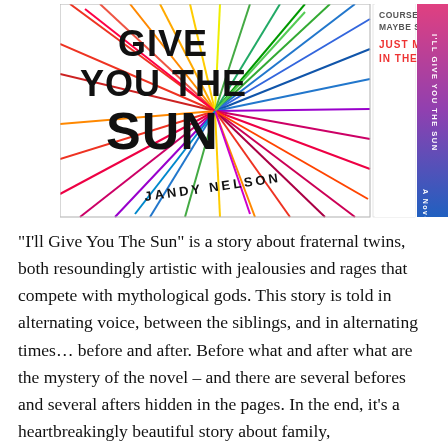[Figure (illustration): Book cover of 'I'll Give You The Sun' by Jandy Nelson, showing colorful radiating lines and bold text, alongside a quote: 'Of course, no matter what, maybe some people are just meant to be in the same story.' The book spine is visible on the right with a pink/purple gradient.]
“I’ll Give You The Sun” is a story about fraternal twins, both resoundingly artistic with jealousies and rages that compete with mythological gods. This story is told in alternating voice, between the siblings, and in alternating times… before and after. Before what and after what are the mystery of the novel – and there are several befores and several afters hidden in the pages. In the end, it’s a heartbreakingly beautiful story about family, unconditional love and conditional love, first